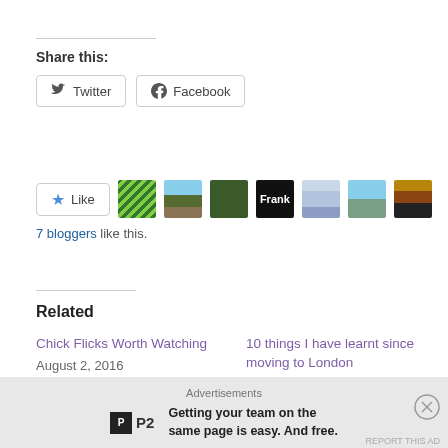Share this:
[Figure (screenshot): Twitter and Facebook share buttons]
[Figure (screenshot): Like button with 7 blogger avatars]
7 bloggers like this.
Related
Chick Flicks Worth Watching
August 2, 2016
In "Opinions"
10 things I have learnt since moving to London
October 7, 2014
In "Opinions"
Advertisements
Getting your team on the same page is easy. And free.